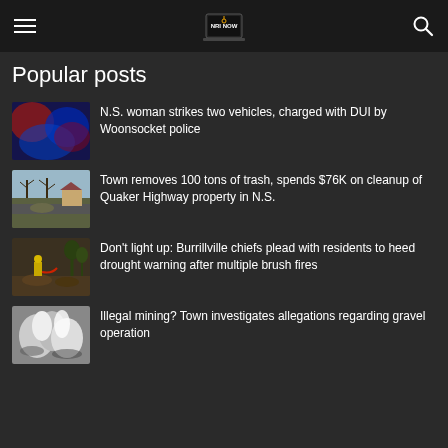NRI Now - navigation header with hamburger menu and search icon
Popular posts
N.S. woman strikes two vehicles, charged with DUI by Woonsocket police
Town removes 100 tons of trash, spends $76K on cleanup of Quaker Highway property in N.S.
Don't light up: Burrillville chiefs plead with residents to heed drought warning after multiple brush fires
Illegal mining? Town investigates allegations regarding gravel operation